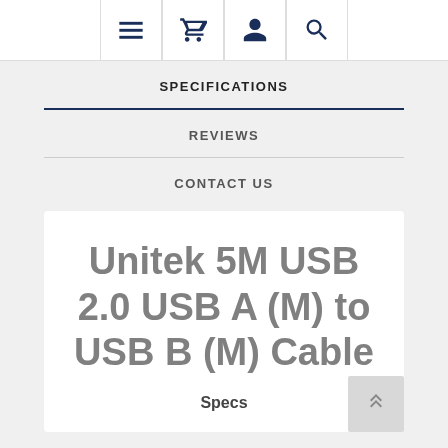Navigation bar with menu, cart, account, and search icons
SPECIFICATIONS
REVIEWS
CONTACT US
Unitek 5M USB 2.0 USB A (M) to USB B (M) Cable
Specs